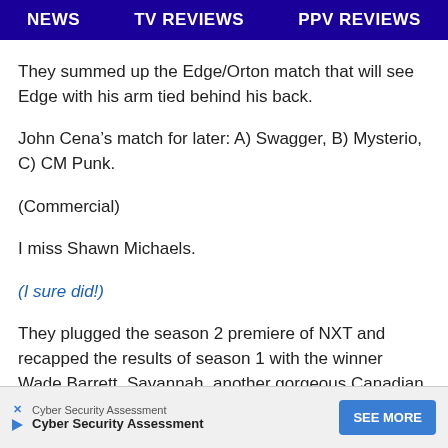NEWS   TV REVIEWS   PPV REVIEWS
They summed up the Edge/Orton match that will see Edge with his arm tied behind his back.
John Cena’s match for later: A) Swagger, B) Mysterio, C) CM Punk.
(Commercial)
I miss Shawn Michaels.
(I sure did!)
They plugged the season 2 premiere of NXT and recapped the results of season 1 with the winner Wade Barrett. Savannah, another gorgeous Canadian diva, in… she’ll accom…